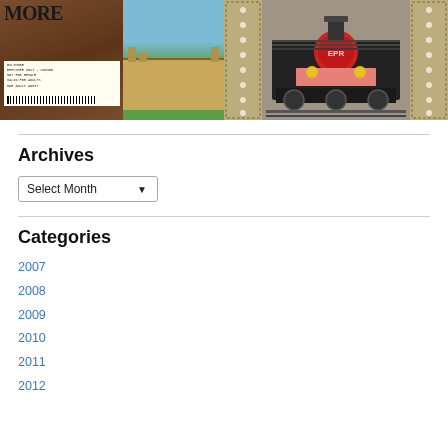[Figure (photo): Left: Biltmore estate collage showing a ticket stub/label on wooden background and a photo of Biltmore estate with blue sky and green lawn. 'MORE' text visible in large letters at top.]
[Figure (illustration): Right: Colorful stylized train/locomotive illustration on gray background, with decorative stamp borders on sides. Train has black body, red boiler front, yellow headlights, and text 'EPR' visible on red circle.]
Archives
Select Month
Categories
2007
2008
2009
2010
2011
2012